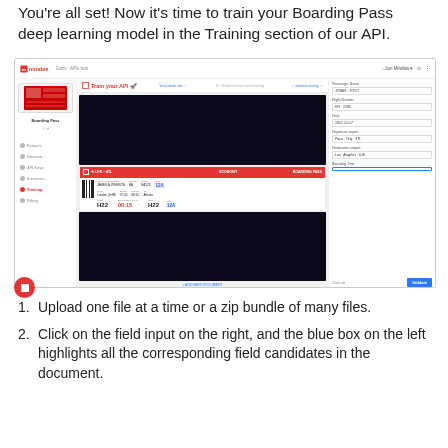You're all set! Now it's time to train your Boarding Pass deep learning model in the Training section of our API.
[Figure (screenshot): Screenshot of the Mindee API Training interface showing the 'Train your API' page with a boarding pass document viewer on the left and field extraction panel on the right with fields like Passenger Name, Flight Number, Date, Departure Airport, Destination Airport, and Boarding Time.]
Upload one file at a time or a zip bundle of many files.
Click on the field input on the right, and the blue box on the left highlights all the corresponding field candidates in the document.